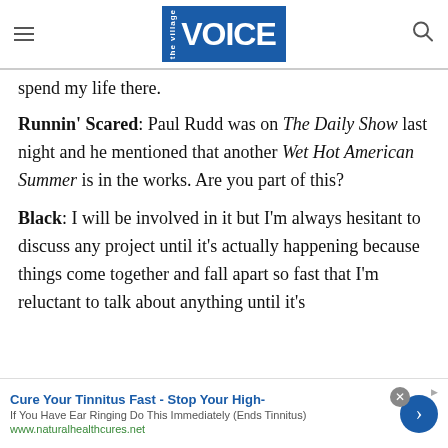the village VOICE
spend my life there.
Runnin' Scared: Paul Rudd was on The Daily Show last night and he mentioned that another Wet Hot American Summer is in the works. Are you part of this?
Black: I will be involved in it but I'm always hesitant to discuss any project until it's actually happening because things come together and fall apart so fast that I'm reluctant to talk about anything until it's
Cure Your Tinnitus Fast - Stop Your High- If You Have Ear Ringing Do This Immediately (Ends Tinnitus) www.naturalhealthcures.net